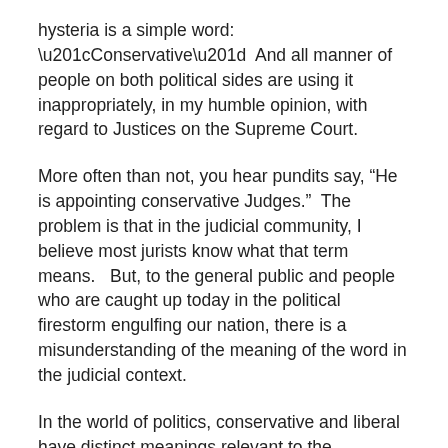hysteria is a simple word:  “Conservative”  And all manner of people on both political sides are using it inappropriately, in my humble opinion, with regard to Justices on the Supreme Court.
More often than not, you hear pundits say, “He is appointing conservative Judges.”  The problem is that in the judicial community, I believe most jurists know what that term means.   But, to the general public and people who are caught up today in the political firestorm engulfing our nation, there is a misunderstanding of the meaning of the word in the judicial context.
In the world of politics, conservative and liberal have distinct meanings relevant to the philosophy of those who call themselves one or the other.   Since we are in a never-ending, politically-charged, 24/7 tsunami of political opinion and positioning in this campaign season, the viewer or reader –on a stimulus-response basis–